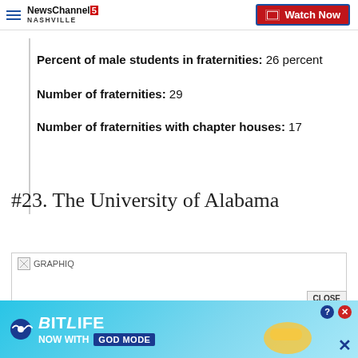NewsChannel 5 Nashville — Watch Now
Percent of male students in fraternities: 26 percent
Number of fraternities: 29
Number of fraternities with chapter houses: 17
#23. The University of Alabama
[Figure (other): GRAPHIQ embedded widget placeholder for The University of Alabama]
[Figure (other): BitLife advertisement banner — NOW WITH GOD MODE]